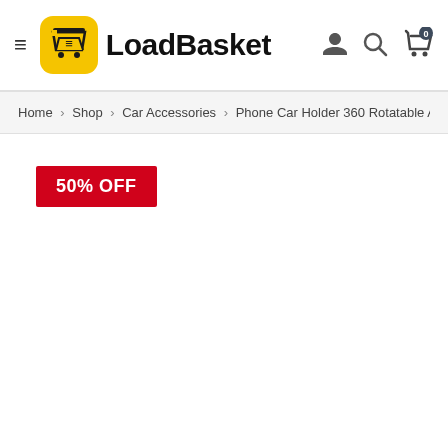LoadBasket
Home > Shop > Car Accessories > Phone Car Holder 360 Rotatable Amazing Windshield Adhe
50% OFF